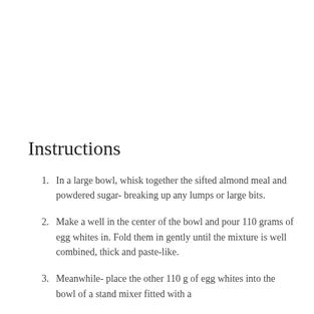Instructions
In a large bowl, whisk together the sifted almond meal and powdered sugar- breaking up any lumps or large bits.
Make a well in the center of the bowl and pour 110 grams of egg whites in. Fold them in gently until the mixture is well combined, thick and paste-like.
Meanwhile- place the other 110 g of egg whites into the bowl of a stand mixer fitted with a